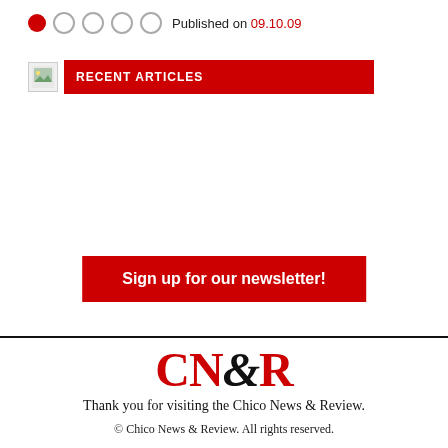Published on 09.10.09
RECENT ARTICLES
Sign up for our newsletter!
CN&R
Thank you for visiting the Chico News & Review.
© Chico News & Review. All rights reserved.